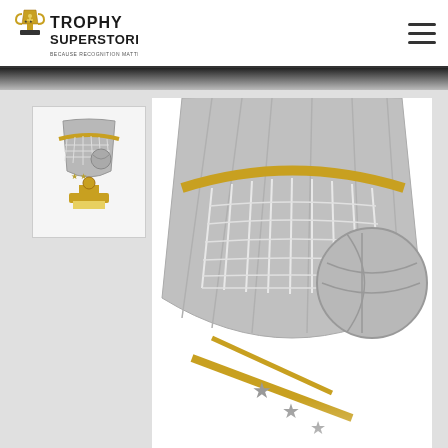[Figure (logo): Trophy Superstore logo with gold trophy icon and text 'TROPHY SUPERSTORE - BECAUSE RECOGNITION MATTERS']
[Figure (other): Hamburger/menu icon (three horizontal lines) in top right corner]
[Figure (photo): Thumbnail image of a netball/basketball trophy figurine in silver and gold tones]
[Figure (photo): Large close-up image of a netball/basketball trophy showing a silver shield-shaped figure with a basketball hoop/net, netball, and gold star accents]